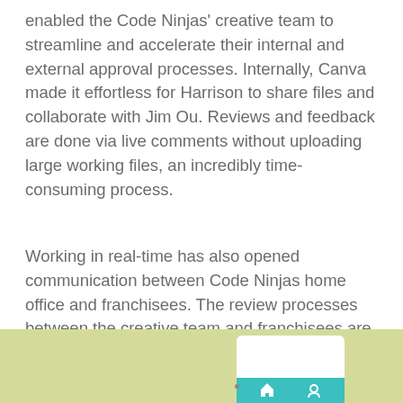enabled the Code Ninjas' creative team to streamline and accelerate their internal and external approval processes. Internally, Canva made it effortless for Harrison to share files and collaborate with Jim Ou. Reviews and feedback are done via live comments without uploading large working files, an incredibly time-consuming process.
Working in real-time has also opened communication between Code Ninjas home office and franchisees. The review processes between the creative team and franchisees are now more productive and accessible.
[Figure (photo): Partial view of a tablet device with a teal/turquoise navigation bar showing icons, set against a light olive/yellow-green background. Only the bottom portion of the image is visible.]